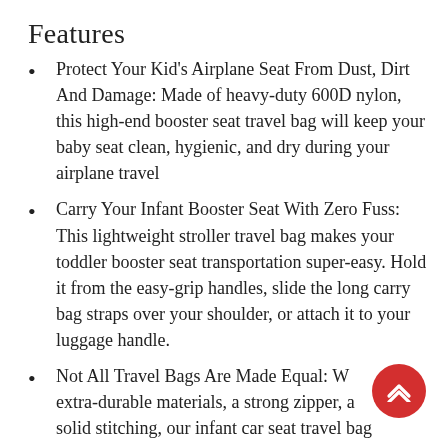Features
Protect Your Kid's Airplane Seat From Dust, Dirt And Damage: Made of heavy-duty 600D nylon, this high-end booster seat travel bag will keep your baby seat clean, hygienic, and dry during your airplane travel
Carry Your Infant Booster Seat With Zero Fuss: This lightweight stroller travel bag makes your toddler booster seat transportation super-easy. Hold it from the easy-grip handles, slide the long carry bag straps over your shoulder, or attach it to your luggage handle.
Not All Travel Bags Are Made Equal: With extra-durable materials, a strong zipper, and solid stitching, our infant car seat travel bag…